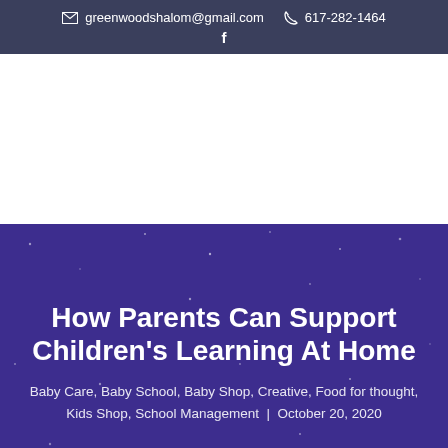greenwoodshalom@gmail.com  617-282-1464
How Parents Can Support Children's Learning At Home
Baby Care, Baby School, Baby Shop, Creative, Food for thought, Kids Shop, School Management  |  October 20, 2020